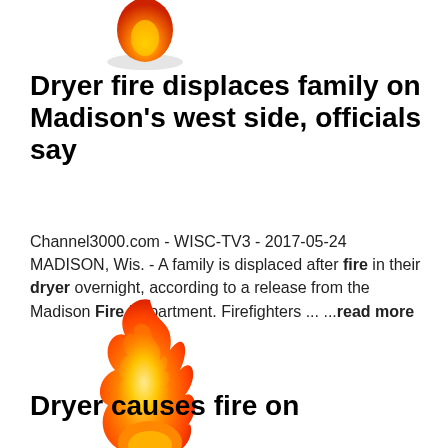[Figure (illustration): Flame emoji/icon (top, partially cropped) with shadow beneath]
Dryer fire displaces family on Madison's west side, officials say
Channel3000.com - WISC-TV3 - 2017-05-24
MADISON, Wis. - A family is displaced after fire in their dryer overnight, according to a release from the Madison Fire Department. Firefighters ... ...read more
[Figure (illustration): Flame emoji/icon with shadow beneath]
Dryer causes fire on